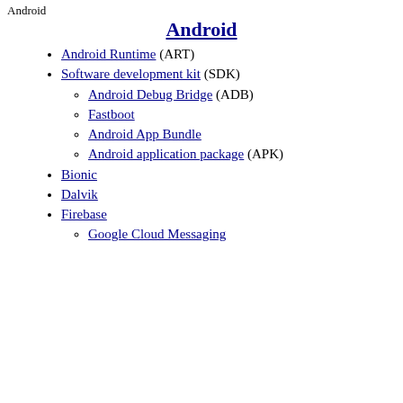Android
Android
Android Runtime (ART)
Software development kit (SDK)
Android Debug Bridge (ADB)
Fastboot
Android App Bundle
Android application package (APK)
Bionic
Dalvik
Firebase
Google Cloud Messaging